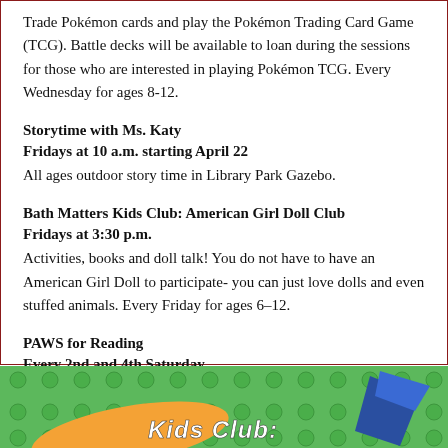Trade Pokémon cards and play the Pokémon Trading Card Game (TCG). Battle decks will be available to loan during the sessions for those who are interested in playing Pokémon TCG. Every Wednesday for ages 8-12.
Storytime with Ms. Katy
Fridays at 10 a.m. starting April 22
All ages outdoor story time in Library Park Gazebo.
Bath Matters Kids Club: American Girl Doll Club
Fridays at 3:30 p.m.
Activities, books and doll talk! You do not have to have an American Girl Doll to participate- you can just love dolls and even stuffed animals. Every Friday for ages 6–12.
PAWS for Reading
Every 2nd and 4th Saturday
Children ages 5-12 can sign up to read for 15 minutes with Finnegan the therapy dog. Call x1016 or visit the Children's Room to sign up.
[Figure (photo): Green LEGO brick background with orange splash and blue triangular shape. Text reads 'Kids Club:' in white bold italic letters.]